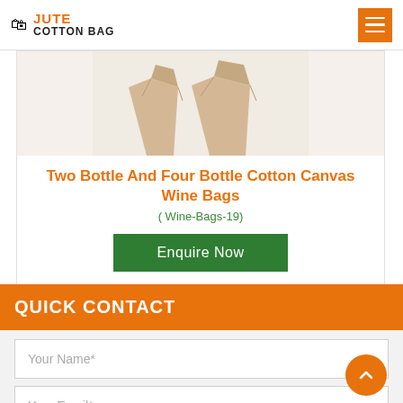JUTE COTTON BAG
[Figure (photo): Partial image of two cotton canvas wine bags on a light background, showing the top folded portions of the bags]
Two Bottle And Four Bottle Cotton Canvas Wine Bags
( Wine-Bags-19)
Enquire Now
QUICK CONTACT
Your Name*
Your Email*